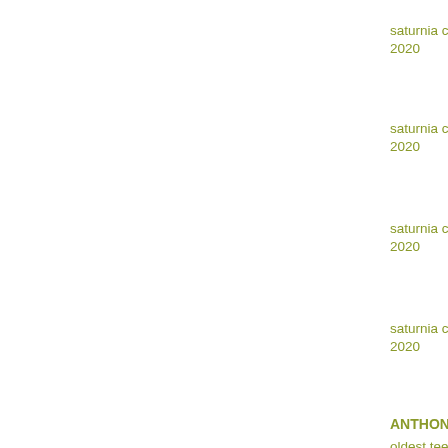saturnia coryba...
2020
saturnia coryba...
2020
saturnia coryba...
2020
saturnia coryba...
2020
ANTHONY TO...
oldest teenager...
ANTHONY TO...
oldest teenager...
W♥M on Music...